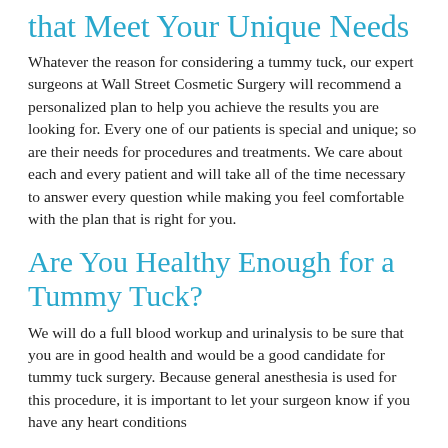that Meet Your Unique Needs
Whatever the reason for considering a tummy tuck, our expert surgeons at Wall Street Cosmetic Surgery will recommend a personalized plan to help you achieve the results you are looking for. Every one of our patients is special and unique; so are their needs for procedures and treatments. We care about each and every patient and will take all of the time necessary to answer every question while making you feel comfortable with the plan that is right for you.
Are You Healthy Enough for a Tummy Tuck?
We will do a full blood workup and urinalysis to be sure that you are in good health and would be a good candidate for tummy tuck surgery. Because general anesthesia is used for this procedure, it is important to let your surgeon know if you have any heart conditions